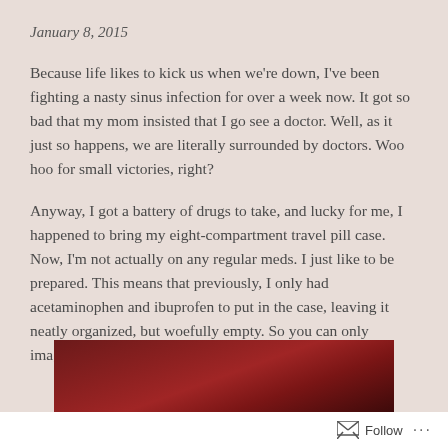January 8, 2015
Because life likes to kick us when we're down, I've been fighting a nasty sinus infection for over a week now. It got so bad that my mom insisted that I go see a doctor. Well, as it just so happens, we are literally surrounded by doctors. Woo hoo for small victories, right?
Anyway, I got a battery of drugs to take, and lucky for me, I happened to bring my eight-compartment travel pill case. Now, I'm not actually on any regular meds. I just like to be prepared. This means that previously, I only had acetaminophen and ibuprofen to put in the case, leaving it neatly organized, but woefully empty. So you can only imagine how happy this made me:
[Figure (photo): Partial view of a dark red/maroon image, appears to be a photo partially visible at the bottom of the page]
Follow